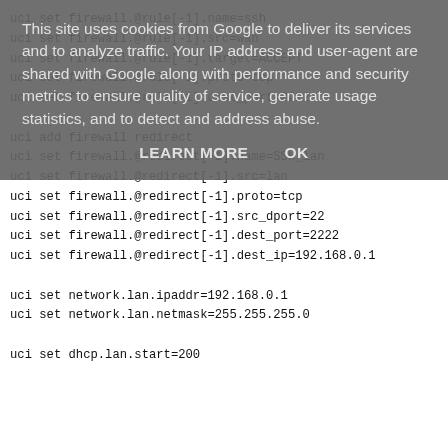uci set firewall.@rule[-1].name=ssh
uci set firewall.@rule[-1].src=wan
uci set firewall.@rule[-1].target=ACCEPT
uci set firewall.@rule[-1].proto=tcp
uci set firewall.@rule[-1].dest_port=2222

uci add firewall redirect
uci set firewall.@redirect[-1].name=SSH_lan
uci set firewall.@redirect[-1].src=lan
uci set firewall.@redirect[-1].proto=tcp
uci set firewall.@redirect[-1].src_dport=22
uci set firewall.@redirect[-1].dest_port=2222
uci set firewall.@redirect[-1].dest_ip=192.168.0.1

uci set network.lan.ipaddr=192.168.0.1
uci set network.lan.netmask=255.255.255.0

uci set dhcp.lan.start=200
This site uses cookies from Google to deliver its services and to analyze traffic. Your IP address and user-agent are shared with Google along with performance and security metrics to ensure quality of service, generate usage statistics, and to detect and address abuse.
LEARN MORE    OK